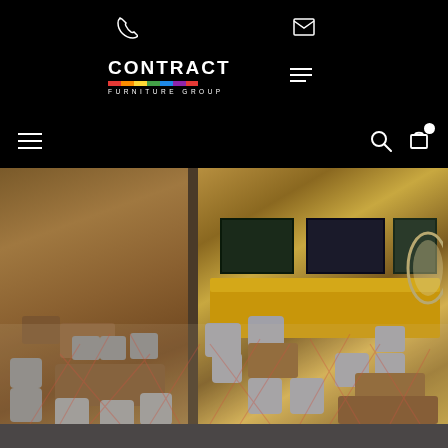[Figure (screenshot): Website header/navigation bar with black background, phone icon, mail/envelope icon, Contract Furniture Group logo with colorful stripe, hamburger menu lines, and bottom nav row with hamburger menu, search icon, and cart icon with white dot]
[Figure (photo): Interior dining/lounge area of what appears to be a cruise ship restaurant with light grey upholstered armchairs, wooden tables, yellow/mustard banquette seating along the wall, patterned carpet with red geometric lines, wall art panels, and a circular porthole window on the right side]